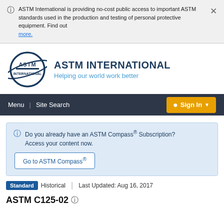ASTM International is providing no-cost public access to important ASTM standards used in the production and testing of personal protective equipment. Find out more.
[Figure (logo): ASTM International logo with globe and swoosh design]
ASTM INTERNATIONAL
Helping our world work better
Menu | Site Search | Sign In
Do you already have an ASTM Compass® Subscription? Access your content now.
Go to ASTM Compass®
Standard  Historical  |  Last Updated: Aug 16, 2017
ASTM C125-02